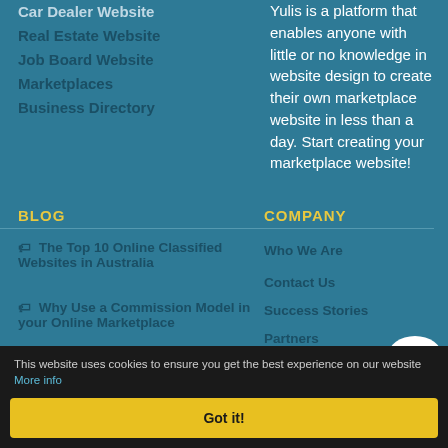Car Dealer Website
Real Estate Website
Job Board Website
Marketplaces
Business Directory
Yulis is a platform that enables anyone with little or no knowledge in website design to create their own marketplace website in less than a day. Start creating your marketplace website!
BLOG
COMPANY
The Top 10 Online Classified Websites in Australia
Who We Are
Contact Us
Why Use a Commission Model in your Online Marketplace
Success Stories
Partners
FOLLOW US
This website uses cookies to ensure you get the best experience on our website More info
Got it!